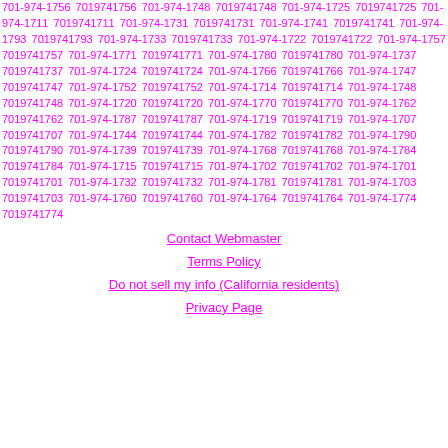701-974-1756 7019741756 701-974-1748 7019741748 701-974-1725 7019741725 701-974-1711 7019741711 701-974-1731 7019741731 701-974-1741 7019741741 701-974-1793 7019741793 701-974-1733 7019741733 701-974-1722 7019741722 701-974-1757 7019741757 701-974-1771 7019741771 701-974-1780 7019741780 701-974-1737 7019741737 701-974-1724 7019741724 701-974-1766 7019741766 701-974-1747 7019741747 701-974-1752 7019741752 701-974-1714 7019741714 701-974-1748 7019741748 701-974-1720 7019741720 701-974-1770 7019741770 701-974-1762 7019741762 701-974-1787 7019741787 701-974-1719 7019741719 701-974-1707 7019741707 701-974-1744 7019741744 701-974-1782 7019741782 701-974-1790 7019741790 701-974-1739 7019741739 701-974-1768 7019741768 701-974-1784 7019741784 701-974-1715 7019741715 701-974-1702 7019741702 701-974-1701 7019741701 701-974-1732 7019741732 701-974-1781 7019741781 701-974-1703 7019741703 701-974-1760 7019741760 701-974-1764 7019741764 701-974-1774 7019741774
Contact Webmaster
Terms Policy
Do not sell my info (California residents)
Privacy Page